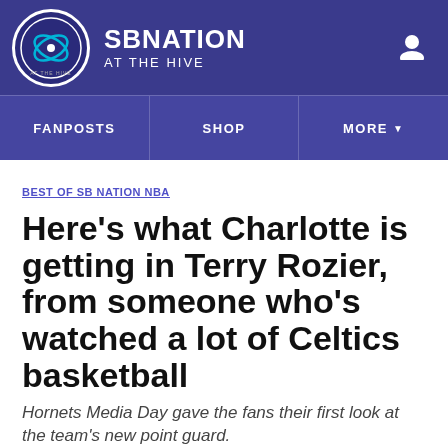SB NATION — AT THE HIVE
FANPOSTS | SHOP | MORE
BEST OF SB NATION NBA
Here's what Charlotte is getting in Terry Rozier, from someone who's watched a lot of Celtics basketball
Hornets Media Day gave the fans their first look at the team's new point guard.
By Chase Whitney | @chasewhitney_ | Oct 3, 2019, 3:00pm EDT
SHARE